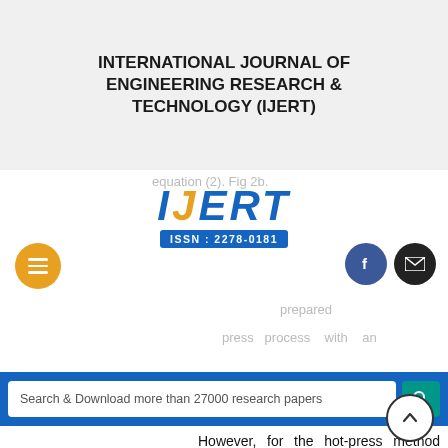INTERNATIONAL JOURNAL OF ENGINEERING RESEARCH & TECHNOLOGY (IJERT)
[Figure (logo): IJERT logo with ISSN 2278-0181, hamburger menu button, Facebook and mail social icons, and search bar]
However, for the hot-press method with higher PZT content, the PZT grains are wrapped by the PVDF, indicating the connection characteristic of wrap and curl. The particles of PZT are much closer and the density of the composite is also